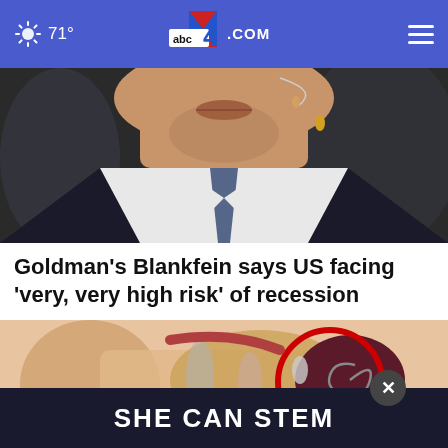71° abc4.com
[Figure (photo): Close-up photo of a man in a suit speaking with a microphone earpiece]
Goldman's Blankfein says US facing 'very, very high risk' of recession
[Figure (illustration): Medical illustration of the inner ear anatomy with a red circle highlighting a specific area, and an advertisement banner at the bottom reading 'SHE CAN STEM']